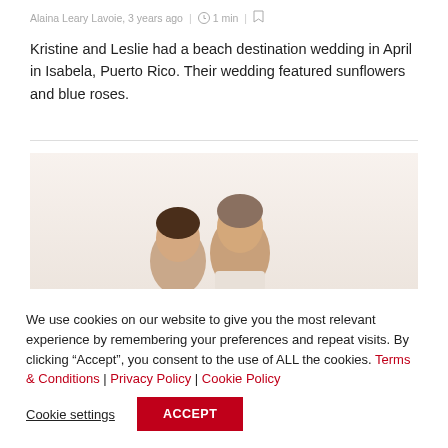Alaina Leary Lavoie, 3 years ago | 1 min |
Kristine and Leslie had a beach destination wedding in April in Isabela, Puerto Rico. Their wedding featured sunflowers and blue roses.
[Figure (photo): Two people (a couple) photographed outdoors with a light sky background, showing their heads and upper bodies. The photo is partially visible.]
We use cookies on our website to give you the most relevant experience by remembering your preferences and repeat visits. By clicking “Accept”, you consent to the use of ALL the cookies. Terms & Conditions | Privacy Policy | Cookie Policy
Cookie settings | ACCEPT